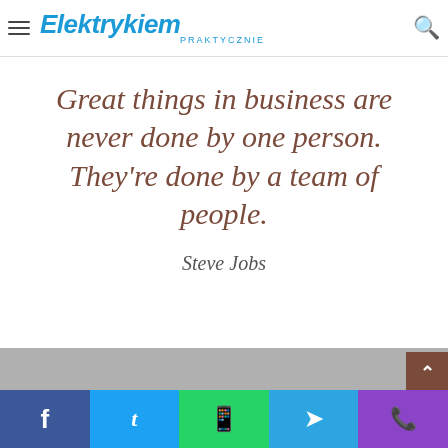Elektrykiem PRAKTYCZNIE
so let's make it. you should never complain, complaining is a weak emotion, you got life, we breathing, we blessed.
Great things in business are never done by one person. They're done by a team of people.

Steve Jobs
Facebook | Twitter | WhatsApp | Telegram | Phone